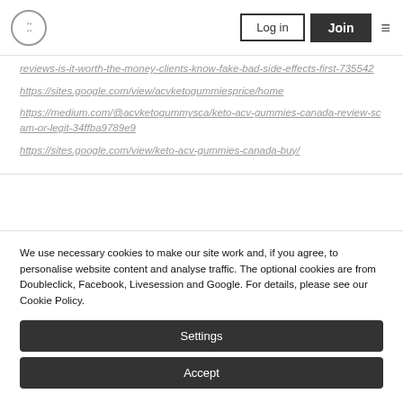Logo | Log in | Join
reviews-is-it-worth-the-money-clients-know-fake-bad-side-effects-first-735542
https://sites.google.com/view/acvketogummiesprice/home
https://medium.com/@acvketogummysca/keto-acv-gummies-canada-review-scam-or-legit-34ffba9789e9
https://sites.google.com/view/keto-acv-gummies-canada-buy/
We use necessary cookies to make our site work and, if you agree, to personalise website content and analyse traffic. The optional cookies are from Doubleclick, Facebook, Livesession and Google. For details, please see our Cookie Policy.
Settings
Accept